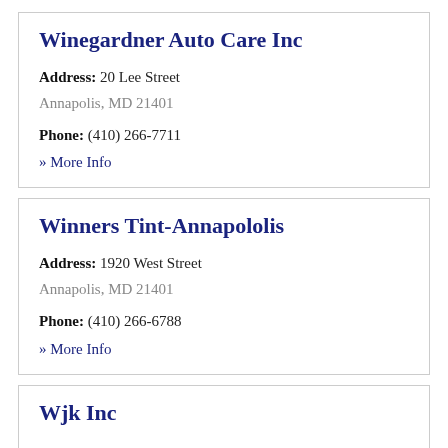Winegardner Auto Care Inc
Address: 20 Lee Street
Annapolis, MD 21401
Phone: (410) 266-7711
» More Info
Winners Tint-Annapololis
Address: 1920 West Street
Annapolis, MD 21401
Phone: (410) 266-6788
» More Info
Wjk Inc